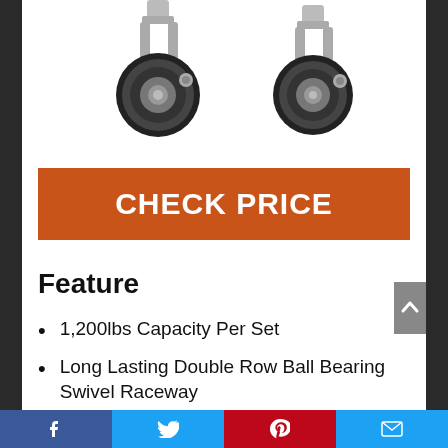[Figure (photo): Two black caster wheels with chrome swivel mounts on white background]
CHECK PRICE
Feature
1,200lbs Capacity Per Set
Long Lasting Double Row Ball Bearing Swivel Raceway
Non-Marking Polyolefin Wheels
Durable Zinc Plating